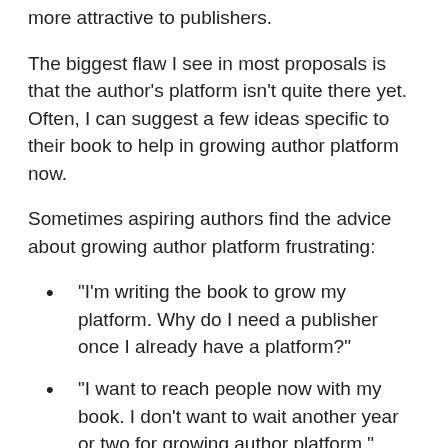more attractive to publishers.
The biggest flaw I see in most proposals is that the author's platform isn't quite there yet. Often, I can suggest a few ideas specific to their book to help in growing author platform now.
Sometimes aspiring authors find the advice about growing author platform frustrating:
“I’m writing the book to grow my platform. Why do I need a publisher once I already have a platform?”
“I want to reach people now with my book. I don’t want to wait another year or two for growing author platform.”